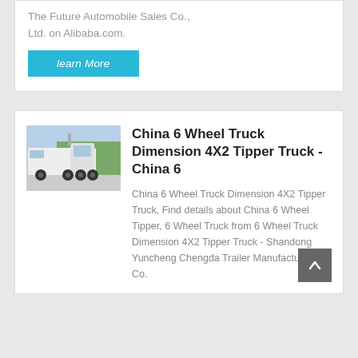The Future Automobile Sales Co., Ltd. on Alibaba.com.
learn More
[Figure (photo): Side view of a white 6-wheel truck/tractor cab parked outdoors with trees in background]
China 6 Wheel Truck Dimension 4X2 Tipper Truck - China 6
China 6 Wheel Truck Dimension 4X2 Tipper Truck, Find details about China 6 Wheel Tipper, 6 Wheel Truck from 6 Wheel Truck Dimension 4X2 Tipper Truck - Shandong Yuncheng Chengda Trailer Manufacturing Co.